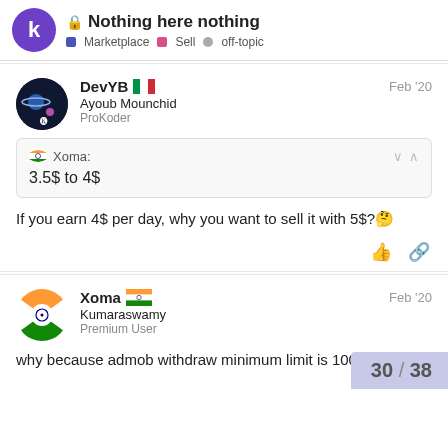Nothing here nothing — Marketplace, Sell, off-topic
DevYB 🇮🇹 Ayoub Mounchid ProKoder Feb '20 — Xoma: 3.5$ to 4$ — If you earn 4$ per day, why you want to sell it with 5$? 🤔
Xoma 🇮🇳 Kumaraswamy Premium User Feb '20 — why because admob withdraw minimum limit is 100USD
30 / 38